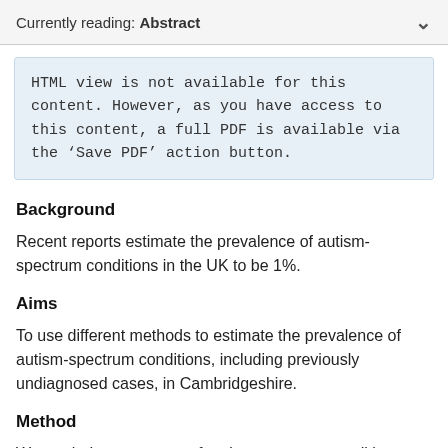Currently reading: Abstract
HTML view is not available for this content. However, as you have access to this content, a full PDF is available via the ‘Save PDF’ action button.
Background
Recent reports estimate the prevalence of autism-spectrum conditions in the UK to be 1%.
Aims
To use different methods to estimate the prevalence of autism-spectrum conditions, including previously undiagnosed cases, in Cambridgeshire.
Method
We carried out a survey of autism-spectrum conditions using the Special Educational Needs (SEN) register. A